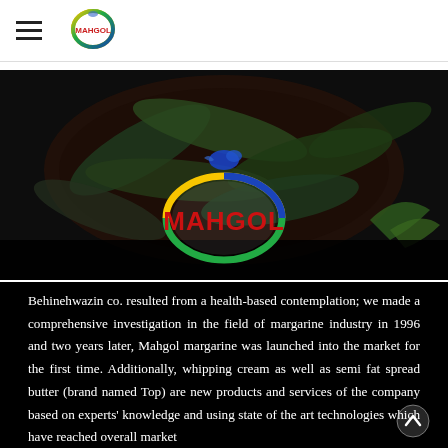Mahgol / Behinehwazin company header with hamburger menu and small logo
[Figure (photo): Dark background photo of bay leaves in a wooden bowl with Mahgol brand logo (colorful oval with MAHGOL text) overlaid in the center]
Behinehwazin co. resulted from a health-based contemplation; we made a comprehensive investigation in the field of margarine industry in 1996 and two years later, Mahgol margarine was launched into the market for the first time. Additionally, whipping cream as well as semi fat spread butter (brand named Top) are new products and services of the company based on experts' knowledge and using state of the art technologies which have reached overall market